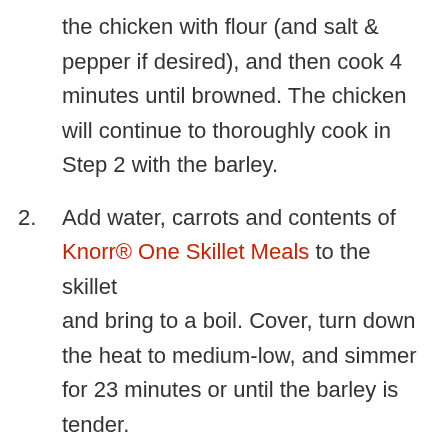the chicken with flour (and salt & pepper if desired), and then cook 4 minutes until browned. The chicken will continue to thoroughly cook in Step 2 with the barley.
2. Add water, carrots and contents of Knorr® One Skillet Meals to the skillet and bring to a boil. Cover, turn down the heat to medium-low, and simmer for 23 minutes or until the barley is tender.
3. Place the baby spinach on top of the barley...